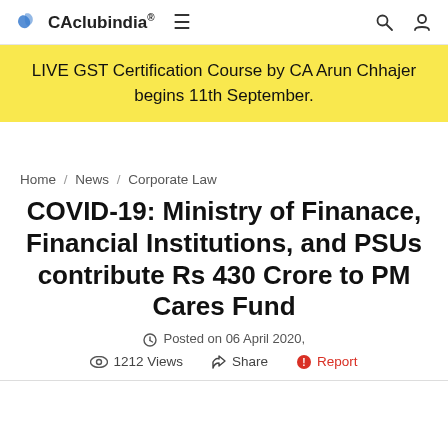CAclubindia®
LIVE GST Certification Course by CA Arun Chhajer begins 11th September.
Home / News / Corporate Law
COVID-19: Ministry of Finanace, Financial Institutions, and PSUs contribute Rs 430 Crore to PM Cares Fund
Posted on 06 April 2020,
1212 Views   Share   Report